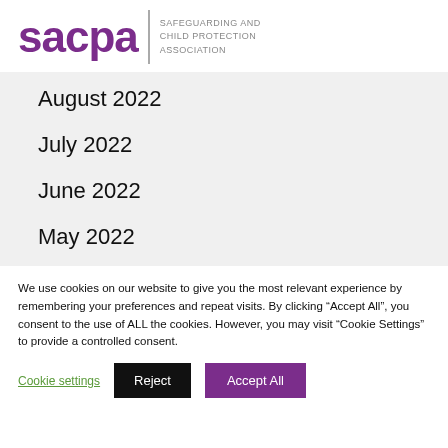[Figure (logo): SACPA logo: large purple 'sacpa' text with vertical divider and 'SAFEGUARDING AND CHILD PROTECTION ASSOCIATION' text to the right]
August 2022
July 2022
June 2022
May 2022
We use cookies on our website to give you the most relevant experience by remembering your preferences and repeat visits. By clicking “Accept All”, you consent to the use of ALL the cookies. However, you may visit “Cookie Settings” to provide a controlled consent.
Cookie settings | Reject | Accept All